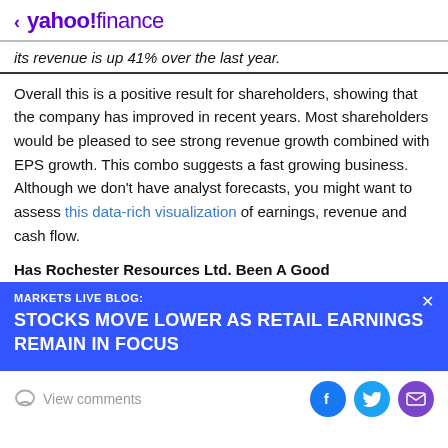< yahoo!finance
its revenue is up 41% over the last year.
Overall this is a positive result for shareholders, showing that the company has improved in recent years. Most shareholders would be pleased to see strong revenue growth combined with EPS growth. This combo suggests a fast growing business. Although we don't have analyst forecasts, you might want to assess this data-rich visualization of earnings, revenue and cash flow.
Has Rochester Resources Ltd. Been A Good
MARKETS LIVE BLOG:
STOCKS MOVE LOWER AS RETAIL EARNINGS REMAIN IN FOCUS
View comments